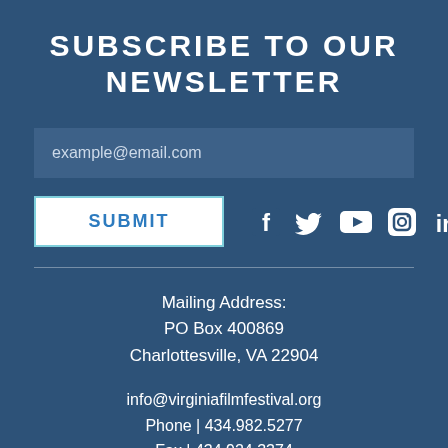SUBSCRIBE TO OUR NEWSLETTER
example@email.com
SUBMIT
[Figure (other): Social media icons: Facebook, Twitter, YouTube, Instagram, LinkedIn]
Mailing Address:
PO Box 400869
Charlottesville, VA 22904
info@virginiafilmfestival.org
Phone | 434.982.5277
Fax | 434.924.3374